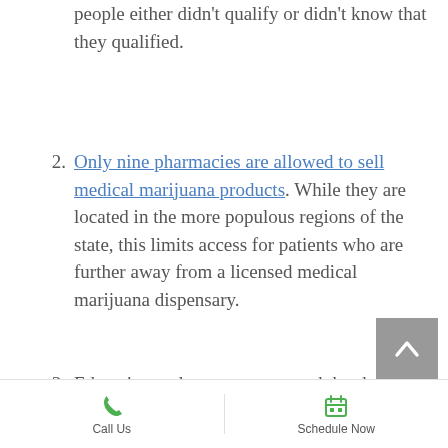people either didn't qualify or didn't know that they qualified.
Only nine pharmacies are allowed to sell medical marijuana products. While they are located in the more populous regions of the state, this limits access for patients who are further away from a licensed medical marijuana dispensary.
Education and customer outreach has been seriously lacking. Pharmacies are not allowed to advertise their prices
[Figure (other): Back to top button — grey square with white upward chevron arrow]
Call Us | Schedule Now